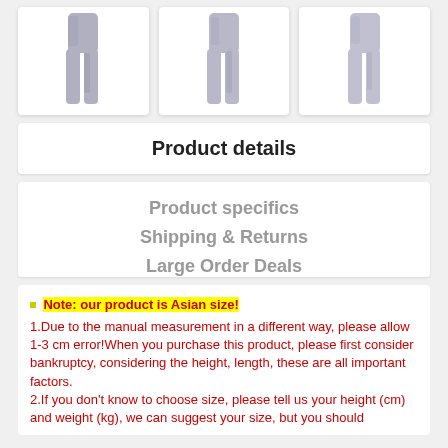[Figure (photo): Three product images showing athletic compression pants/leggings in gray tie-dye pattern]
Product details
Product specifics
Shipping & Returns
Large Order Deals
Note: our product is Asian size!
1.Due to the manual measurement in a different way, please allow 1-3 cm error!When you purchase this product, please first consider bankruptcy, considering the height, length, these are all important factors.
2.If you don't know to choose size, please tell us your height (cm) and weight (kg), we can suggest your size, but you should